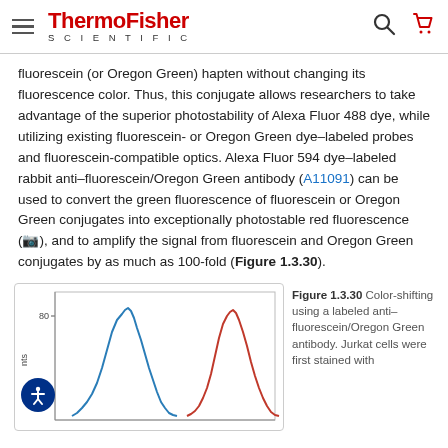ThermoFisher SCIENTIFIC
fluorescein (or Oregon Green) hapten without changing its fluorescence color. Thus, this conjugate allows researchers to take advantage of the superior photostability of Alexa Fluor 488 dye, while utilizing existing fluorescein- or Oregon Green dye–labeled probes and fluorescein-compatible optics. Alexa Fluor 594 dye–labeled rabbit anti–fluorescein/Oregon Green antibody (A11091) can be used to convert the green fluorescence of fluorescein or Oregon Green conjugates into exceptionally photostable red fluorescence (📷), and to amplify the signal from fluorescein and Oregon Green conjugates by as much as 100-fold (Figure 1.3.30).
[Figure (continuous-plot): Flow cytometry histogram showing two peaks: a blue peak (fluorescein/Oregon Green channel, ~green fluorescence) on the left, and a red peak (Alexa Fluor 594 channel, ~red fluorescence) on the right. Y-axis labeled 'nts', x-axis unlabeled. Y-axis tick at 80.]
Figure 1.3.30 Color-shifting using a labeled anti–fluorescein/Oregon Green antibody. Jurkat cells were first stained with